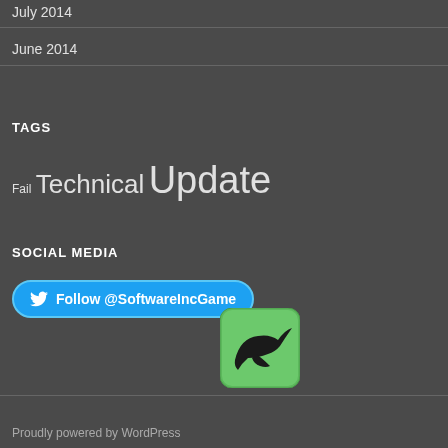July 2014
June 2014
TAGS
Fail Technical Update
SOCIAL MEDIA
Follow @SoftwareIncGame
[Figure (logo): Steam/game green icon with black bird silhouette]
Proudly powered by WordPress